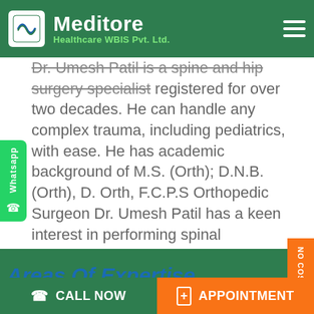Meditore Healthcare WBIS Pvt. Ltd.
Dr. Umesh Patil is a spine and hip surgery specialist registered for over two decades. He can handle any complex trauma, including pediatrics, with ease. He has academic background of M.S. (Orth); D.N.B.(Orth), D. Orth, F.C.P.S Orthopedic Surgeon Dr. Umesh Patil has a keen interest in performing spinal instrumentation surgeries and total joint arthroplasties. He has performed more than 2000 such procedures with over 18-20 spine surgeries and 8-10 joint replacement surgeries per month with a success rate of 90-95%.
Areas Of Expertise
CALL NOW   APPOINTMENT